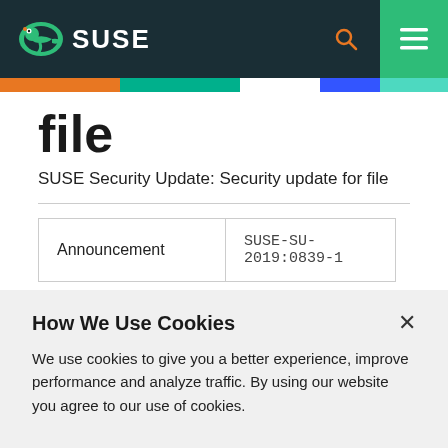SUSE
file
SUSE Security Update: Security update for file
| Announcement |  |
| --- | --- |
| Announcement | SUSE-SU-2019:0839-1 |
How We Use Cookies
We use cookies to give you a better experience, improve performance and analyze traffic. By using our website you agree to our use of cookies.
View and change cookie preferences >